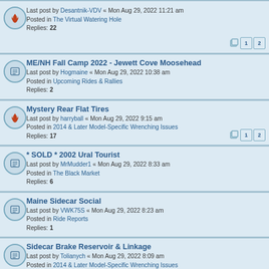Last post by Desantnik-VDV « Mon Aug 29, 2022 11:21 am
Posted in The Virtual Watering Hole
Replies: 22
ME/NH Fall Camp 2022 - Jewett Cove Moosehead
Last post by Hogmaine « Mon Aug 29, 2022 10:38 am
Posted in Upcoming Rides & Rallies
Replies: 2
Mystery Rear Flat Tires
Last post by harryball « Mon Aug 29, 2022 9:15 am
Posted in 2014 & Later Model-Specific Wrenching Issues
Replies: 17
* SOLD * 2002 Ural Tourist
Last post by MrMudder1 « Mon Aug 29, 2022 8:33 am
Posted in The Black Market
Replies: 6
Maine Sidecar Social
Last post by VWK75S « Mon Aug 29, 2022 8:23 am
Posted in Ride Reports
Replies: 1
Sidecar Brake Reservoir & Linkage
Last post by Tolianych « Mon Aug 29, 2022 8:09 am
Posted in 2014 & Later Model-Specific Wrenching Issues
Replies: 3
zerks on drum brake cams?
Last post by BinDerSmokDat « Mon Aug 29, 2022 8:00 am
Posted in General Hammerin' and Wrenchin' (all model years)
Replies: 8
New Trunk Knife